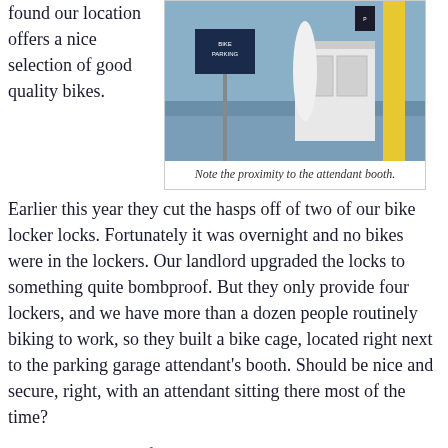found our location offers a nice selection of good quality bikes.
[Figure (photo): Photo of a bike cage or locker area in a parking garage, showing a yellow pole, a sign, and what appears to be bike storage near an attendant booth.]
Note the proximity to the attendant booth.
Earlier this year they cut the hasps off of two of our bike locker locks. Fortunately it was overnight and no bikes were in the lockers. Our landlord upgraded the locks to something quite bombproof. But they only provide four lockers, and we have more than a dozen people routinely biking to work, so they built a bike cage, located right next to the parking garage attendant’s booth. Should be nice and secure, right, with an attendant sitting there most of the time?
Well, Friday (day after Thanksgiving) someone’s bike was stolen from the cage during the workday (I don’t